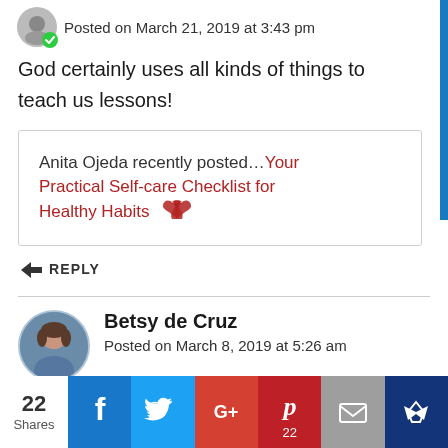Posted on March 21, 2019 at 3:43 pm
God certainly uses all kinds of things to teach us lessons!
Anita Ojeda recently posted…Your Practical Self-care Checklist for Healthy Habits
↩ REPLY
Betsy de Cruz
Posted on March 8, 2019 at 5:26 am
22 Shares